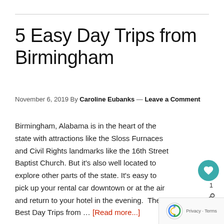5 Easy Day Trips from Birmingham
November 6, 2019 By Caroline Eubanks — Leave a Comment
Birmingham, Alabama is in the heart of the state with attractions like the Sloss Furnaces and Civil Rights landmarks like the 16th Street Baptist Church. But it's also well located to explore other parts of the state. It's easy to pick up your rental car downtown or at the air and return to your hotel in the evening.  The Best Day Trips from … [Read more...]